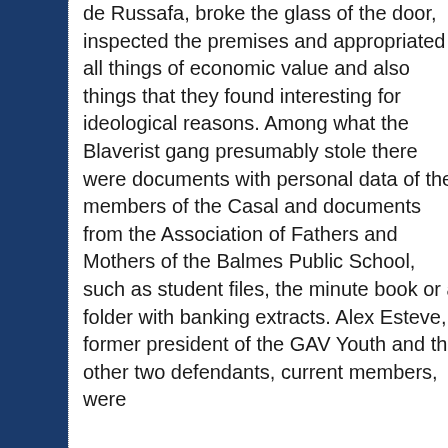de Russafa, broke the glass of the door, inspected the premises and appropriated all things of economic value and also things that they found interesting for ideological reasons. Among what the Blaverist gang presumably stole there were documents with personal data of the members of the Casal and documents from the Association of Fathers and Mothers of the Balmes Public School, such as student files, the minute book or a folder with banking extracts. Alex Esteve, former president of the GAV Youth and the other two defendants, current members, were